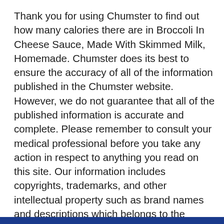Thank you for using Chumster to find out how many calories there are in Broccoli In Cheese Sauce, Made With Skimmed Milk, Homemade. Chumster does its best to ensure the accuracy of all of the information published in the Chumster website. However, we do not guarantee that all of the published information is accurate and complete. Please remember to consult your medical professional before you take any action in respect to anything you read on this site. Our information includes copyrights, trademarks, and other intellectual property such as brand names and descriptions which belongs to the respective owners of said property.